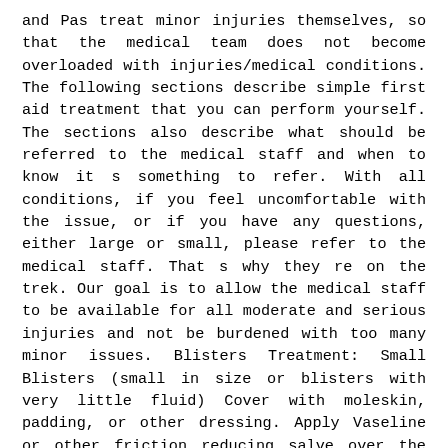and Pas treat minor injuries themselves, so that the medical team does not become overloaded with injuries/medical conditions. The following sections describe simple first aid treatment that you can perform yourself. The sections also describe what should be referred to the medical staff and when to know it s something to refer. With all conditions, if you feel uncomfortable with the issue, or if you have any questions, either large or small, please refer to the medical staff. That s why they re on the trek. Our goal is to allow the medical staff to be available for all moderate and serious injuries and not be burdened with too many minor issues. Blisters Treatment: Small Blisters (small in size or blisters with very little fluid) Cover with moleskin, padding, or other dressing. Apply Vaseline or other friction reducing salve over the dressing. It is not necessary to open small blisters. If they open on their own, wash with soap and water (or use alcohol wipe) and cover with clean bandage. Medium - Large Blisters These are best referred to the medical staff. If you want to treat yourself, wipe area with alcohol and sterilize a pin (or use a sterile needle). Prick the blister near the edge and press out the liquid. Protect the wound from pressure and keep it clean with antiseptic bandage. Cover and keep protected.